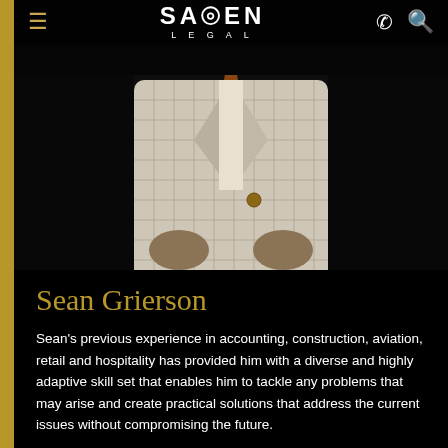[Figure (photo): Person in a light checkered blazer / suit jacket against a dark background, torso and hands visible]
≡  SAJEN LEGAL  ☎ 🔍
Sean Grierson
Sean's previous experience in accounting, construction, aviation, retail and hospitality has provided him with a diverse and highly adaptive skill set that enables him to tackle any problems that may arise and create practical solutions that address the current issues without compromising the future.